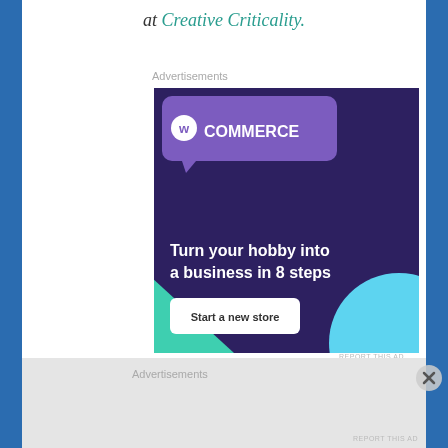at Creative Criticality.
Advertisements
[Figure (screenshot): WooCommerce advertisement: 'Turn your hobby into a business in 8 steps' with a 'Start a new store' button on a dark purple background with green triangle and teal circle decorations.]
REPORT THIS AD
Share this:
Advertisements
REPORT THIS AD